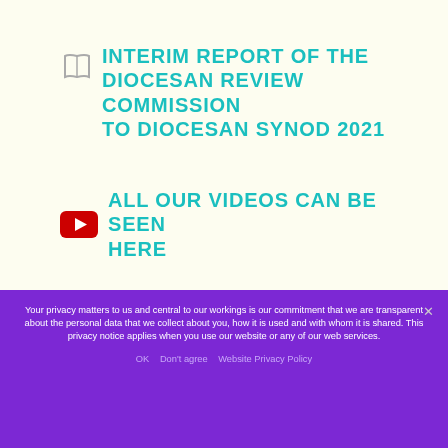INTERIM REPORT OF THE DIOCESAN REVIEW COMMISSION TO DIOCESAN SYNOD 2021
ALL OUR VIDEOS CAN BE SEEN HERE
Your privacy matters to us and central to our workings is our commitment that we are transparent about the personal data that we collect about you, how it is used and with whom it is shared. This privacy notice applies when you use our website or any of our web services.
OK   Don't agree   Website Privacy Policy